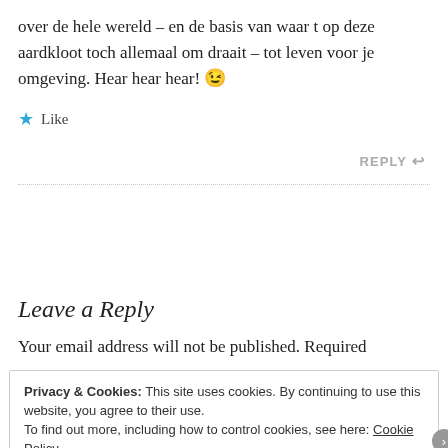over de hele wereld – en de basis van waar t op deze aardkloot toch allemaal om draait – tot leven voor je omgeving. Hear hear hear! 😉
★ Like
REPLY ↩
Leave a Reply
Your email address will not be published. Required
Privacy & Cookies: This site uses cookies. By continuing to use this website, you agree to their use.
To find out more, including how to control cookies, see here: Cookie Policy
Close and accept